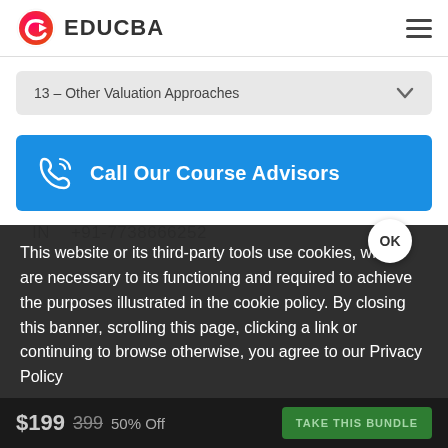[Figure (logo): EDUCBA logo with red/orange play button icon and EDUCBA text]
13 – Other Valuation Approaches
Call Our Course Advisors
IN   +91-7738666252
This website or its third-party tools use cookies, which are necessary to its functioning and required to achieve the purposes illustrated in the cookie policy. By closing this banner, scrolling this page, clicking a link or continuing to browse otherwise, you agree to our Privacy Policy
$199 399 50% Off   TAKE THIS BUNDLE